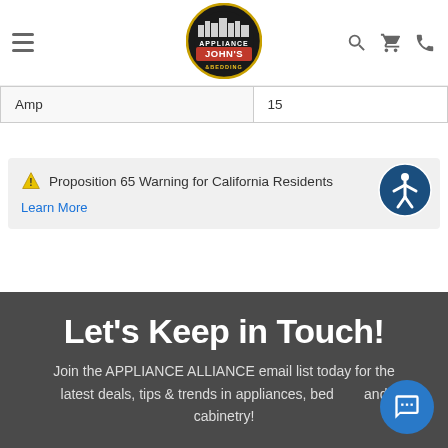Appliance John's & Bedding — navigation header with logo, hamburger menu, search, cart, phone icons
| Amp | 15 |
| --- | --- |
⚠ Proposition 65 Warning for California Residents
Learn More
Let's Keep in Touch!
Join the APPLIANCE ALLIANCE email list today for the latest deals, tips & trends in appliances, bedding and cabinetry!